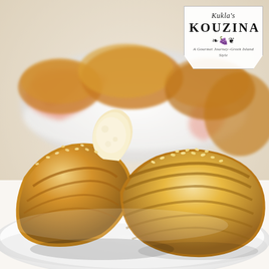[Figure (photo): Food photograph showing golden braided bread rolls with sesame seeds on a white plate in the foreground, broken open to reveal fluffy interior. In the background, a white bowl with pink linen napkin contains more of the same bread rolls. Warm, bright natural lighting on a white surface.]
[Figure (logo): Kukla's Kouzina logo in a hexagon-shaped white box with decorative scroll ornaments, grape cluster illustration, bold uppercase KOUZINA text, script 'Kukla's' above, and tagline 'A Gourmet Journey-Greek Island Style' below.]